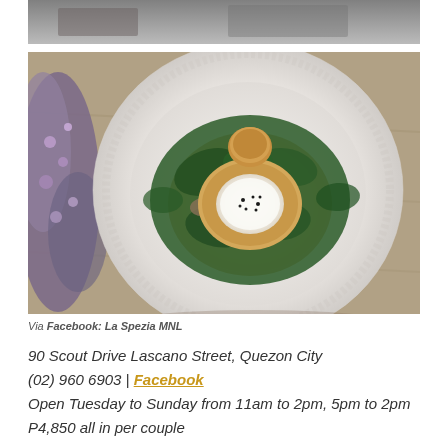[Figure (photo): Partial top photo showing dark background/interior]
[Figure (photo): Food photo: a white decorative plate with a dish of sautéed greens, mushrooms, bread and a poached egg with black pepper, photographed from above on a wooden table with purple flowers on the left]
Via Facebook: La Spezia MNL
90 Scout Drive Lascano Street, Quezon City
(02) 960 6903 | Facebook
Open Tuesday to Sunday from 11am to 2pm, 5pm to 2pm
P4,850 all in per couple